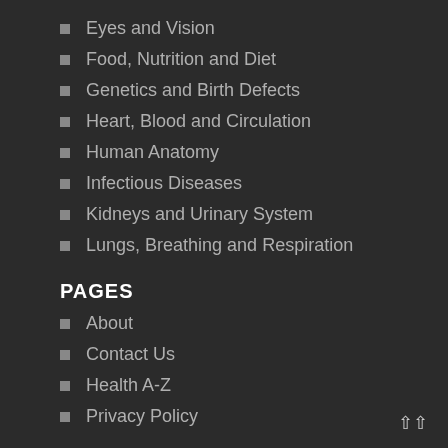Eyes and Vision
Food, Nutrition and Diet
Genetics and Birth Defects
Heart, Blood and Circulation
Human Anatomy
Infectious Diseases
Kidneys and Urinary System
Lungs, Breathing and Respiration
PAGES
About
Contact Us
Health A-Z
Privacy Policy